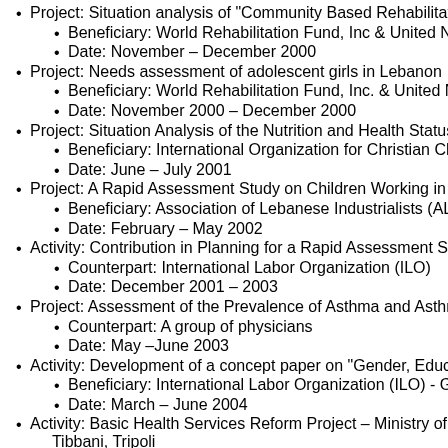Project: Situation analysis of "Community Based Rehabilitation P...
Beneficiary: World Rehabilitation Fund, Inc & United Na...
Date: November – December 2000
Project: Needs assessment of adolescent girls in Lebanon
Beneficiary: World Rehabilitation Fund, Inc. & United Na...
Date: November 2000 – December 2000
Project: Situation Analysis of the Nutrition and Health Status of B...
Beneficiary: International Organization for Christian Cha...
Date: June – July 2001
Project: A Rapid Assessment Study on Children Working in Shoe...
Beneficiary: Association of Lebanese Industrialists (ALI)
Date: February – May 2002
Activity: Contribution in Planning for a Rapid Assessment Study ...
Counterpart: International Labor Organization (ILO)
Date: December 2001 – 2003
Project: Assessment of the Prevalence of Asthma and Asthma S...
Counterpart: A group of physicians
Date: May –June 2003
Activity: Development of a concept paper on "Gender, Education...
Beneficiary: International Labor Organization (ILO) - Ge...
Date: March – June 2004
Activity: Basic Health Services Reform Project – Ministry of Hea... Tibbani, Tripoli
Beneficiary: University of Balamand – Faculty of Health ...
Date: December 2004 – August 2005
Activity: Evaluation Study of the Lebanese Association of SOS C...
Beneficiary: University of Balamand – Faculty of Health ...
Date: February – June 2006
Activity: Baseline Study on Education and Child Labor Risks on ...